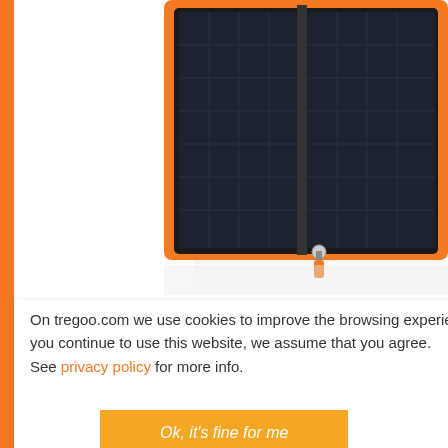[Figure (photo): Top-down view of an orange-bordered solar panel charger/case with dark solar cells and a zipper at the bottom, partially cropped. Product is from tregoo.com.]
On tregoo.com we use cookies to improve the browsing experience. If you continue to use this website, we assume that you agree.
See privacy policy for more info.
Ok, it's fine for me